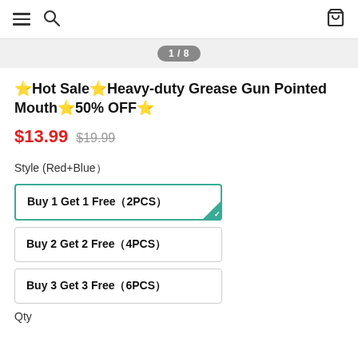Navigation header with menu, search, and cart icons
[Figure (other): Image carousel indicator showing 1/8]
🔥Hot Sale🔥Heavy-duty Grease Gun Pointed Mouth🔥50% OFF🔥
$13.99  $19.99
Style (Red+Blue）
Buy 1 Get 1 Free（2PCS）
Buy 2 Get 2 Free（4PCS）
Buy 3 Get 3 Free（6PCS）
Qty